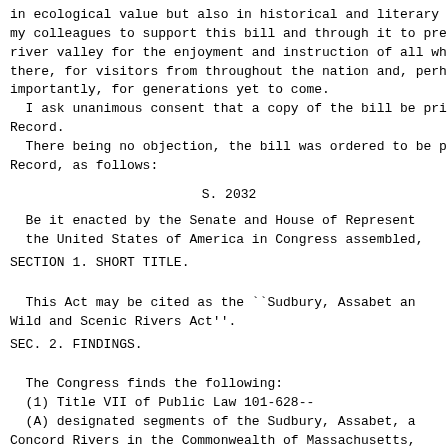in ecological value but also in historical and literary ...
my colleagues to support this bill and through it to pres...
river valley for the enjoyment and instruction of all who...
there, for visitors from throughout the nation and, perha...
importantly, for generations yet to come.
  I ask unanimous consent that a copy of the bill be prin...
Record.
  There being no objection, the bill was ordered to be pr...
Record, as follows:
S. 2032
Be it enacted by the Senate and House of Represent...
  the United States of America in Congress assembled,
SECTION 1. SHORT TITLE.
This Act may be cited as the ``Sudbury, Assabet an...
Wild and Scenic Rivers Act''.
SEC. 2. FINDINGS.
The Congress finds the following:
  (1) Title VII of Public Law 101-628--
  (A) designated segments of the Sudbury, Assabet, a...
Concord Rivers in the Commonwealth of Massachusetts,...
29 river miles, for study of potential addition to t...
National Wild and Scenic Rivers System, and
  (B) directed the Secretary of the Interior to esta...
Sudbury, Assabet, and Concord River Study Committee...